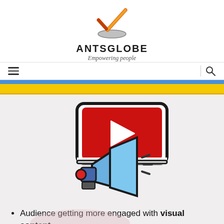[Figure (logo): AntsGlobe logo with orange checkmark above a platform base, company name ANTSGLOBE in bold, tagline Empowering people in italic]
[Figure (other): Navigation bar with hamburger menu icon on left, vertical divider, and search magnifying glass icon on right]
[Figure (illustration): Yellow and dark gold horizontal banner bar]
[Figure (illustration): Illustration of a video player screen (red background with white play triangle) combined with a blue megaphone/loudspeaker on a light gray background]
Audience getting more engaged with visual content